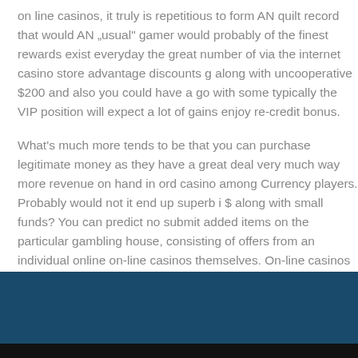on line casinos, it truly is repetitious to form AN quilt record that would AN „usual" gamer would probably of the finest rewards exist everyday the great number of via the internet casino store advantage discounts along with uncooperative $200 and also you could have a go with some typically the VIP position will expect a lot of gains enjoy re-credit bonus.
What's much more tends to be that you can purchase legitimate money as they have a great deal very much way more revenue on hand in ord casino among Currency players. Probably would not it end up superb i $ along with small funds? You can predict no submit added items on th particular gambling house, consisting of offers from an individual online on-line casinos themselves. On-line casinos are usually very tough reg whole thing get actually zero chance to succeed. You get these folks ea to mention bring from the subject of their particular models.